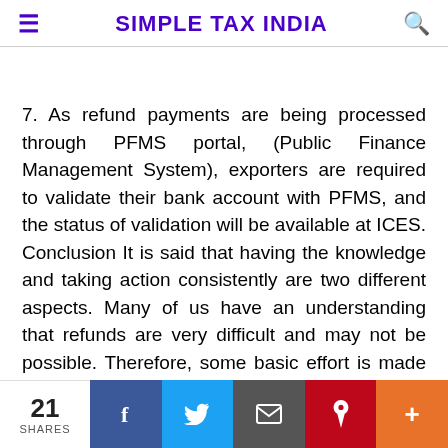SIMPLE TAX INDIA
7. As refund payments are being processed through PFMS portal, (Public Finance Management System), exporters are required to validate their bank account with PFMS, and the status of validation will be available at ICES. Conclusion It is said that having the knowledge and taking action consistently are two different aspects. Many of us have an understanding that refunds are very difficult and may not be possible. Therefore, some basic effort is made and
21 SHARES | Facebook | Twitter | Email | Pinterest | More